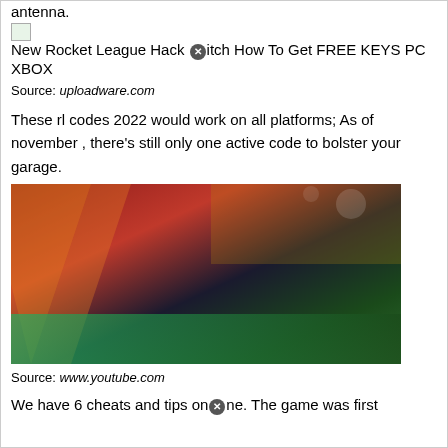antenna.
New Rocket League Hack [X] itch How To Get FREE KEYS PC XBOX
Source: uploadware.com
These rl codes 2022 would work on all platforms; As of november , there's still only one active code to bolster your garage.
[Figure (photo): Rocket League Cheat Code promotional image showing the Rocket League logo (blue shield with car) and large yellow text reading 'CHEAT CODE' on a stadium background]
Source: www.youtube.com
We have 6 cheats and tips on [X] ne. The game was first